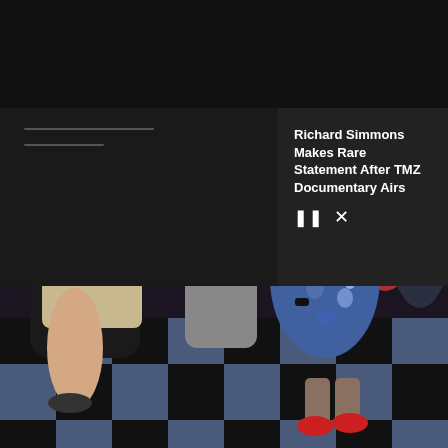[Figure (logo): E! News logo: large cyan E with white NEWS text on black background]
NEWS
Richard Simmons Makes Rare Statement After TMZ Documentary Airs
[Figure (photo): Three women dancing at what appears to be a party or club with black and white checkered floor. Woman on left in black top and striped skirt leaning/squatting, center woman in grey strapless dress with surprised expression, right woman in blue floral dress with baby bump.]